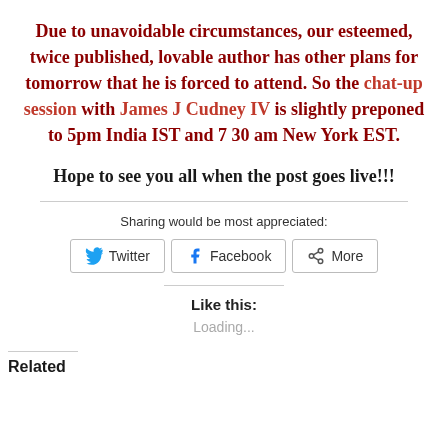Due to unavoidable circumstances, our esteemed, twice published, lovable author has other plans for tomorrow that he is forced to attend. So the chat-up session with James J Cudney IV is slightly preponed to 5pm India IST and 7 30 am New York EST.
Hope to see you all when the post goes live!!!
Sharing would be most appreciated:
[Figure (screenshot): Social share buttons: Twitter, Facebook, More]
Like this:
Loading...
Related